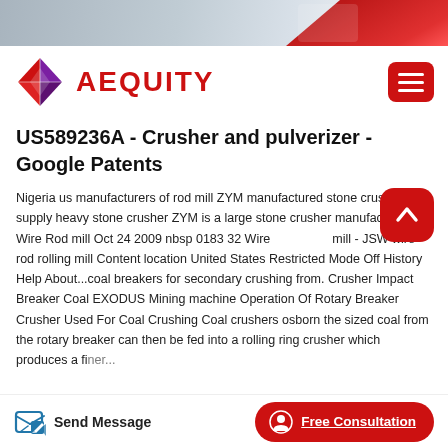[Figure (photo): Top banner image showing a blurred red and grey background, partially visible.]
[Figure (logo): AEQUITY logo with a red/purple diamond-shaped icon and red text 'AEQUITY']
US589236A - Crusher and pulverizer - Google Patents
Nigeria us manufacturers of rod mill ZYM manufactured stone crusher supply heavy stone crusher ZYM is a large stone crusher manufacturer... Wire Rod mill Oct 24 2009 nbsp 0183 32 Wire mill - JSW wire rod rolling mill Content location United States Restricted Mode Off History Help About...coal breakers for secondary crushing from. Crusher Impact Breaker Coal EXODUS Mining machine Operation Of Rotary Breaker Crusher Used For Coal Crushing Coal crushers osborn the sized coal from the rotary breaker can then be fed into a rolling ring crusher which produces a finer product whilst the machine is giving continuous reduced roll...
Send Message
Free Consultation